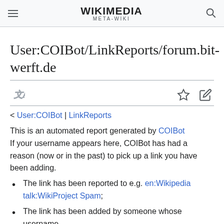WIKIMEDIA META-WIKI
User:COIBot/LinkReports/forum.bitwerft.de
< User:COIBot | LinkReports
This is an automated report generated by COIBot If your username appears here, COIBot has had a reason (now or in the past) to pick up a link you have been adding.
The link has been reported to e.g. en:Wikipedia talk:WikiProject Spam;
The link has been added by someone whose username